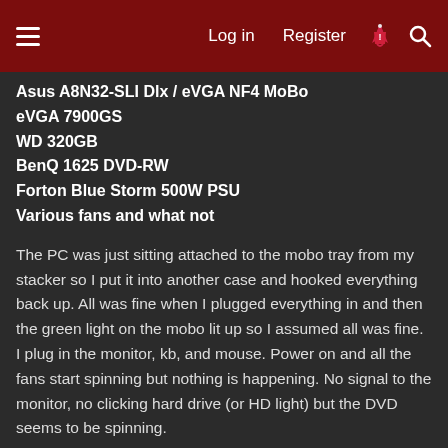Log in | Register
Asus A8N32-SLI Dlx / eVGA NF4 MoBo
eVGA 7900GS
WD 320GB
BenQ 1625 DVD-RW
Forton Blue Storm 500W PSU
Various fans and what not
The PC was just sitting attached to the mobo tray from my stacker so I put it into another case and hooked everything back up. All was fine when I plugged everything in and then the green light on the mobo lit up so I assumed all was fine. I plug in the monitor, kb, and mouse. Power on and all the fans start spinning but nothing is happening. No signal to the monitor, no clicking hard drive (or HD light) but the DVD seems to be spinning.
I swap out video cards to my back up X300 thinking something may have happened to the 79GS. Do the swap and all that power it up and still nothing. No signal to the